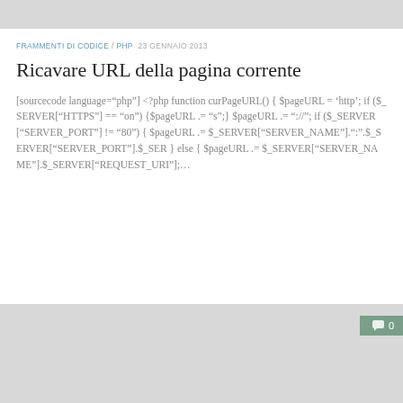FRAMMENTI DI CODICE / PHP  23 GENNAIO 2013
Ricavare URL della pagina corrente
[sourcecode language="php"] <?php function curPageURL() { $pageURL = 'http'; if ($_SERVER["HTTPS"] == "on") {$pageURL .= "s";} $pageURL .= "://"; if ($_SERVER["SERVER_PORT"] != "80") { $pageURL .= $_SERVER["SERVER_NAME"].":".$_SERVER["SERVER_PORT"].$_SER } else { $pageURL .= $_SERVER["SERVER_NAME"].$_SERVER["REQUEST_URI"];...